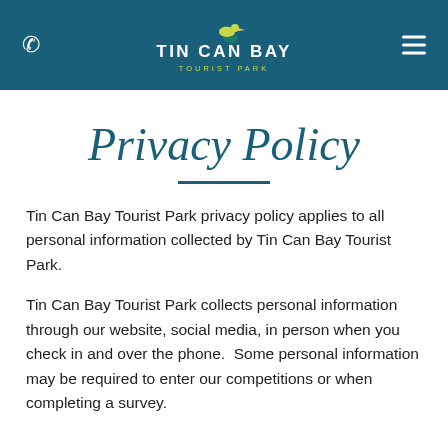Tin Can Bay Tourist Park — Navigation header with phone icon, logo, and menu icon
Privacy Policy
Tin Can Bay Tourist Park privacy policy applies to all personal information collected by Tin Can Bay Tourist Park.
Tin Can Bay Tourist Park collects personal information through our website, social media, in person when you check in and over the phone.  Some personal information may be required to enter our competitions or when completing a survey.